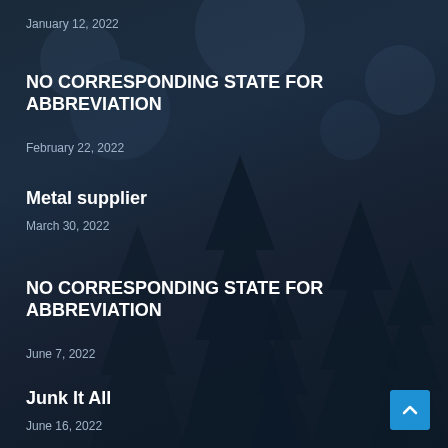January 12, 2022
NO CORRESPONDING STATE FOR ABBREVIATION
February 22, 2022
Metal supplier
March 30, 2022
NO CORRESPONDING STATE FOR ABBREVIATION
June 7, 2022
Junk It All
June 16, 2022